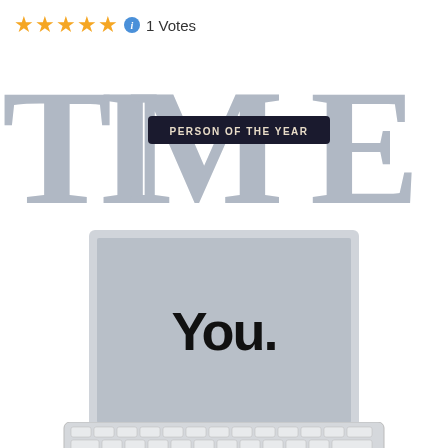★★★★★ ℹ 1 Votes
[Figure (illustration): TIME Magazine 'Person of the Year' cover graphic showing the TIME logo in large gray letters with 'PERSON OF THE YEAR' banner across the O, and below it an iMac-style computer monitor showing a video player with the word 'You.' on screen, video controls showing 00:00/20:06, and a keyboard at the bottom.]